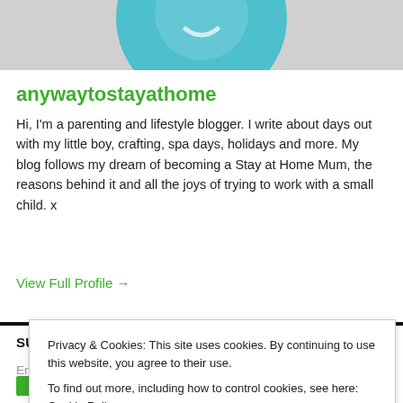[Figure (illustration): Banner image showing a teal/light-blue decorative badge or seal shape on a light grey background, partially cropped at top]
anywaytostayathome
Hi, I'm a parenting and lifestyle blogger. I write about days out with my little boy, crafting, spa days, holidays and more. My blog follows my dream of becoming a Stay at Home Mum, the reasons behind it and all the joys of trying to work with a small child. x
View Full Profile →
SUBSCRIBE TO BLOG VIA EMAIL
Enter your email address to subscribe to this blog and receive
Privacy & Cookies: This site uses cookies. By continuing to use this website, you agree to their use.
To find out more, including how to control cookies, see here: Cookie Policy
Close and accept